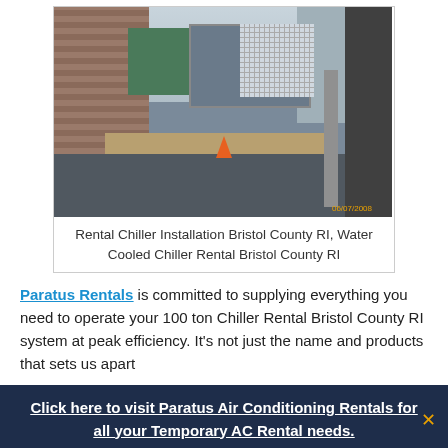[Figure (photo): Outdoor photo showing a rental chiller installation with trucks, a Trane chiller unit with grid cooling tower, shipping containers, an orange traffic cone, a ramp/walkway on the right, and city buildings in the background. Timestamp visible: 06/07/2008]
Rental Chiller Installation Bristol County RI, Water Cooled Chiller Rental Bristol County RI
Paratus Rentals is committed to supplying everything you need to operate your 100 ton Chiller Rental Bristol County RI system at peak efficiency. It's not just the name and products that sets us apart
Click here to visit Paratus Air Conditioning Rentals for all your Temporary AC Rental needs.